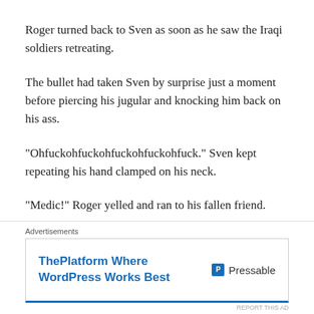Roger turned back to Sven as soon as he saw the Iraqi soldiers retreating.
The bullet had taken Sven by surprise just a moment before piercing his jugular and knocking him back on his ass.
“Ohfuckohfuckohfuckohfuckohfuck.” Sven kept repeating his hand clamped on his neck.
“Medic!” Roger yelled and ran to his fallen friend.
“Shit man, fucker got me!” Sven’s skin had already paled.
Advertisements
[Figure (other): Pressable advertisement banner: ThePlatform Where WordPress Works Best]